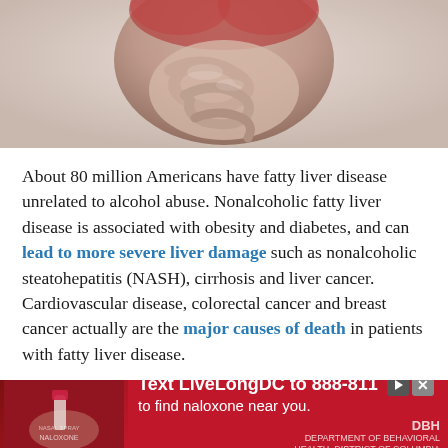[Figure (illustration): Medical illustration of a human torso showing internal organs, particularly the digestive system/liver area, with reddish muscle tissue visible at top]
About 80 million Americans have fatty liver disease unrelated to alcohol abuse. Nonalcoholic fatty liver disease is associated with obesity and diabetes, and can lead to more severe liver damage such as nonalcoholic steatohepatitis (NASH), cirrhosis and liver cancer. Cardiovascular disease, colorectal cancer and breast cancer actually are the major causes of death in patients with fatty liver disease.
Several drugs in advanced stages of development have failed because of the complexity of the disease, low efficacy, or the toxicity of drugs.
[Figure (infographic): Red advertisement banner: Text LiveLongDC to 888-811 to find naloxone near you. Features image of naloxone nasal spray on left side and DBH logo on right.]